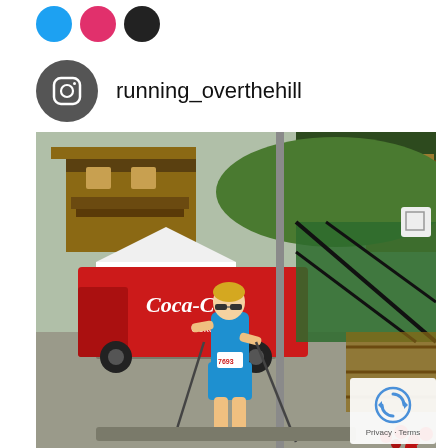[Figure (logo): Three social media icon circles: blue (Twitter), pink/red (Instagram), black (another platform)]
running_overthehill
[Figure (photo): A woman runner with bib number 7693 running on a road past a Coca-Cola truck, with alpine-style buildings and a fenced sports court in the background. Red flowers visible at bottom right.]
Privacy · Terms